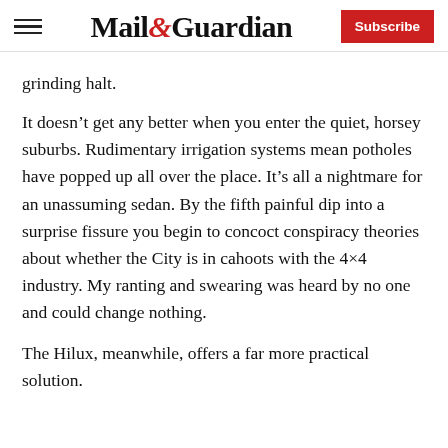Mail&Guardian | Subscribe
grinding halt.
It doesn’t get any better when you enter the quiet, horsey suburbs. Rudimentary irrigation systems mean potholes have popped up all over the place. It’s all a nightmare for an unassuming sedan. By the fifth painful dip into a surprise fissure you begin to concoct conspiracy theories about whether the City is in cahoots with the 4×4 industry. My ranting and swearing was heard by no one and could change nothing.
The Hilux, meanwhile, offers a far more practical solution.